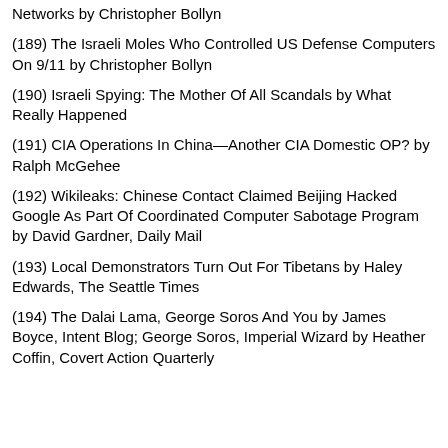Networks by Christopher Bollyn
(189) The Israeli Moles Who Controlled US Defense Computers On 9/11 by Christopher Bollyn
(190) Israeli Spying: The Mother Of All Scandals by What Really Happened
(191) CIA Operations In China—Another CIA Domestic OP? by Ralph McGehee
(192) Wikileaks: Chinese Contact Claimed Beijing Hacked Google As Part Of Coordinated Computer Sabotage Program by David Gardner, Daily Mail
(193) Local Demonstrators Turn Out For Tibetans by Haley Edwards, The Seattle Times
(194) The Dalai Lama, George Soros And You by James Boyce, Intent Blog; George Soros, Imperial Wizard by Heather Coffin, Covert Action Quarterly